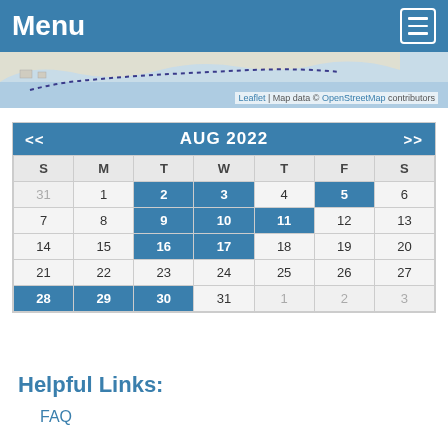Menu
[Figure (map): Partial map showing coastline with dotted path, Leaflet map attribution and OpenStreetMap contributors note]
| S | M | T | W | T | F | S |
| --- | --- | --- | --- | --- | --- | --- |
| 31 | 1 | 2 | 3 | 4 | 5 | 6 |
| 7 | 8 | 9 | 10 | 11 | 12 | 13 |
| 14 | 15 | 16 | 17 | 18 | 19 | 20 |
| 21 | 22 | 23 | 24 | 25 | 26 | 27 |
| 28 | 29 | 30 | 31 | 1 | 2 | 3 |
Helpful Links:
FAQ